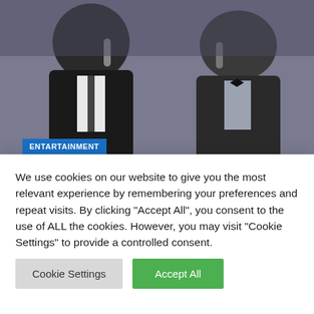[Figure (photo): Two men in suits at what appears to be an awards or press event, photographed from chest up against a dark background]
ENTARTAINMENT
'Velocity of Charlie's dying was such a shock' Mick Jagger remembers Rolling Stones drummer
September 4, 2022   jasabacklink
[Figure (photo): Partial view of another article photo with warm tones]
We use cookies on our website to give you the most relevant experience by remembering your preferences and repeat visits. By clicking "Accept All", you consent to the use of ALL the cookies. However, you may visit "Cookie Settings" to provide a controlled consent.